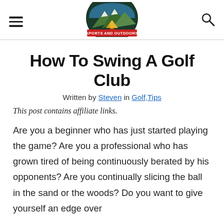[Figure (logo): Sports and Outdoors website logo — circular emblem with mountain, tent and campfire scene, red banner with white text 'SPORTS AND OUTDOORS']
How To Swing A Golf Club
Written by Steven in Golf,Tips
This post contains affiliate links.
Are you a beginner who has just started playing the game? Are you a professional who has grown tired of being continuously berated by his opponents? Are you continually slicing the ball in the sand or the woods? Do you want to give yourself an edge over